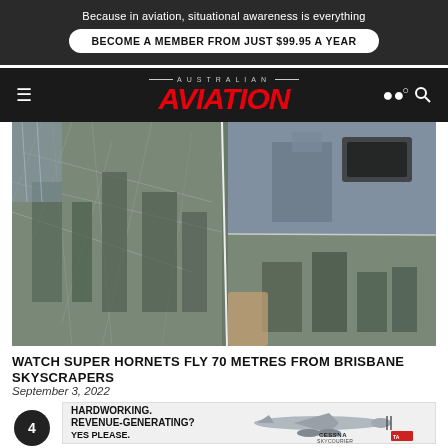Because in aviation, situational awareness is everything
BECOME A MEMBER FROM JUST $99.95 A YEAR
[Figure (logo): Australian Aviation logo — red italic bold AVIATION text with 'AUSTRALIAN' in small caps above, on dark background, with hamburger menu left and search icon right]
[Figure (photo): Composite photo showing Super Hornet jets flying close to Brisbane skyscrapers, split into two panels showing different angles of fighter jets near city buildings]
WATCH SUPER HORNETS FLY 70 METRES FROM BRISBANE SKYSCRAPERS
September 3, 2022
[Figure (infographic): Advertisement: HARDWORKING. REVENUE-GENERATING? YES PLEASE. with Cessna SkyCourier aircraft image and Textron Aviation logo. Number 4 in dark circle on left.]